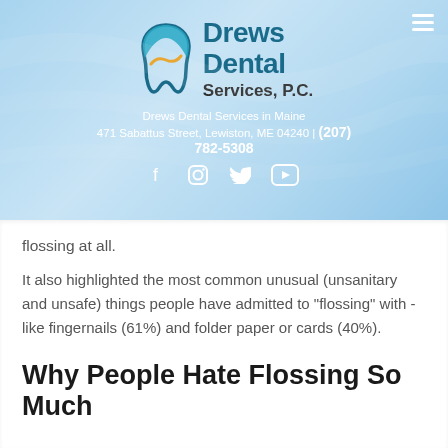[Figure (logo): Drews Dental Services P.C. logo with tooth graphic]
Drews Dental Services in Maine
471 Sabattus Street, Lewiston, ME 04240 | (207) 782-5308
flossing at all.
It also highlighted the most common unusual (unsanitary and unsafe) things people have admitted to "flossing" with - like fingernails (61%) and folder paper or cards (40%).
Why People Hate Flossing So Much